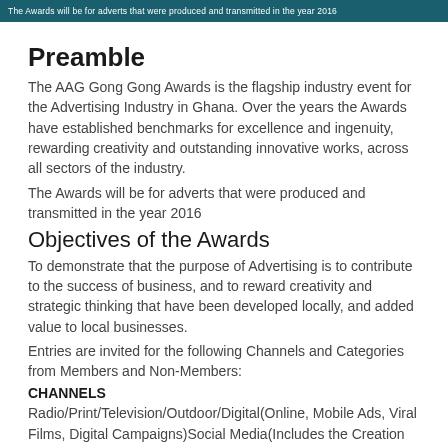The Awards will be for adverts that were produced and transmitted in the year 2016
Preamble
The AAG Gong Gong Awards is the flagship industry event for the Advertising Industry in Ghana. Over the years the Awards have established benchmarks for excellence and ingenuity, rewarding creativity and outstanding innovative works, across all sectors of the industry.
The Awards will be for adverts that were produced and transmitted in the year 2016
Objectives of the Awards
To demonstrate that the purpose of Advertising is to contribute to the success of business, and to reward creativity and strategic thinking that have been developed locally, and added value to local businesses.
Entries are invited for the following Channels and Categories from Members and Non-Members:
CHANNELS
Radio/Print/Television/Outdoor/Digital(Online, Mobile Ads, Viral Films, Digital Campaigns)Social Media(Includes the Creation of Social Platforms, the use of Existing Social